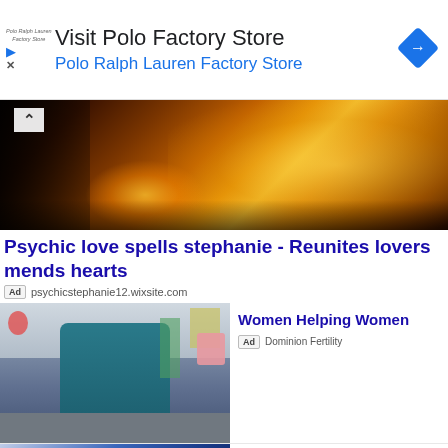[Figure (screenshot): Advertisement banner for Polo Ralph Lauren Factory Store with navigation icon]
[Figure (photo): Romantic ambiance photo with wine glass, candles, and bokeh heart-shaped lights]
Psychic love spells stephanie - Reunites lovers mends hearts
Ad  psychicstephanie12.wixsite.com
[Figure (photo): Woman sitting at a desk working, office setting]
Women Helping Women
Ad  Dominion Fertility
[Figure (photo): Partial image with blue tones, possibly a person or hero image]
A Message from your